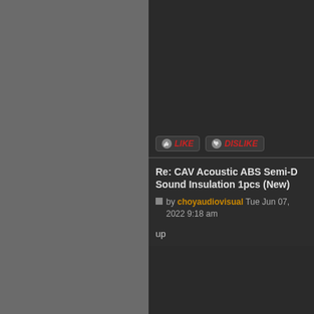[Figure (screenshot): Left grey panel background]
[Figure (screenshot): Like and Dislike buttons with thumbs up/down icons]
Re: CAV Acoustic ABS Semi-D Sound Insulation 1pcs (New)
by choyaudiovisual Tue Jun 07, 2022 9:18 am
up